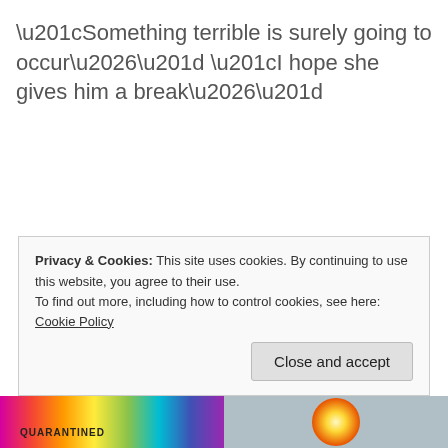“Something terrible is surely going to occur…” “I hope she gives him a break…”
Privacy & Cookies: This site uses cookies. By continuing to use this website, you agree to their use.
To find out more, including how to control cookies, see here: Cookie Policy
Close and accept
[Figure (photo): Colorful rainbow-striped image strip at the bottom of the page, with a golden circular emblem on the right side.]